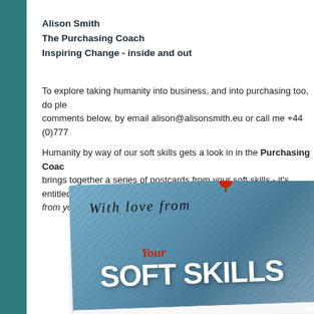Alison Smith
The Purchasing Coach
Inspiring Change - inside and out
To explore taking humanity into business, and into purchasing too, do please join the comments below, by email alison@alisonsmith.eu or call me +44 (0)7770...
Humanity by way of our soft skills gets a look in in the Purchasing Coach... brings together a series of postcards from your soft skills - it's entitled Dear... from your soft skills. More here.
[Figure (photo): Book cover or postcard image showing 'With love from Your SOFT SKILLS' text on a denim/blue fabric background with a red pin tack at the top]